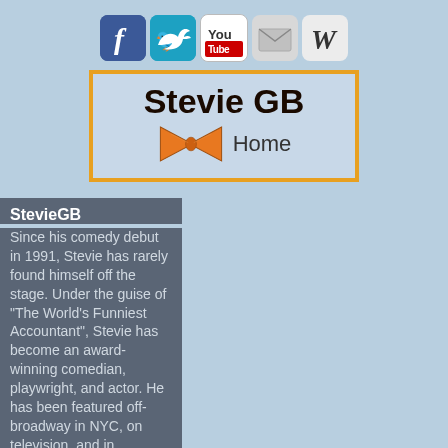[Figure (infographic): Social media icons row: Facebook (blue f), Twitter (teal bird), YouTube (You red bar), Email (envelope), Wikipedia (W)]
[Figure (logo): Stevie GB logo banner with orange border, large bold text 'Stevie GB', orange bowtie graphic, and 'Home' text]
StevieGB
Since his comedy debut in 1991, Stevie has rarely found himself off the stage. Under the guise of "The World's Funniest Accountant", Stevie has become an award-winning comedian, playwright, and actor. He has been featured off-broadway in NYC, on television, and in